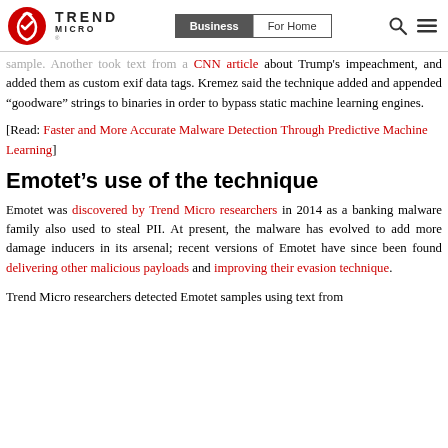Trend Micro | Business | For Home
sample. Another took text from a CNN article about Trump's impeachment, and added them as custom exif data tags. Kremez said the technique added and appended “goodware” strings to binaries in order to bypass static machine learning engines.
[Read: Faster and More Accurate Malware Detection Through Predictive Machine Learning]
Emotet’s use of the technique
Emotet was discovered by Trend Micro researchers in 2014 as a banking malware family also used to steal PII. At present, the malware has evolved to add more damage inducers in its arsenal; recent versions of Emotet have since been found delivering other malicious payloads and improving their evasion technique.
Trend Micro researchers detected Emotet samples using text from